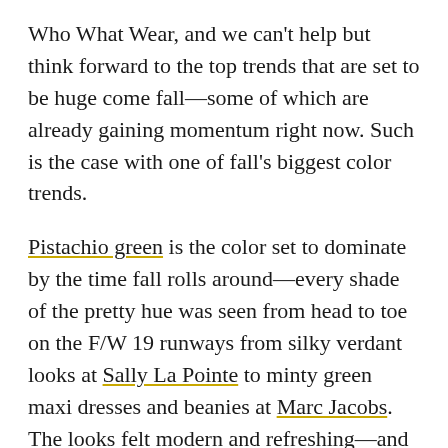Who What Wear, and we can't help but think forward to the top trends that are set to be huge come fall—some of which are already gaining momentum right now. Such is the case with one of fall's biggest color trends.
Pistachio green is the color set to dominate by the time fall rolls around—every shade of the pretty hue was seen from head to toe on the F/W 19 runways from silky verdant looks at Sally La Pointe to minty green maxi dresses and beanies at Marc Jacobs. The looks felt modern and refreshing—and are convincing us to run out and buy a pistachio green outfit ASAP. It's a color that has already been discreetly making it's mark this spring and summer with fashion girls rocking the pistachio hue in the